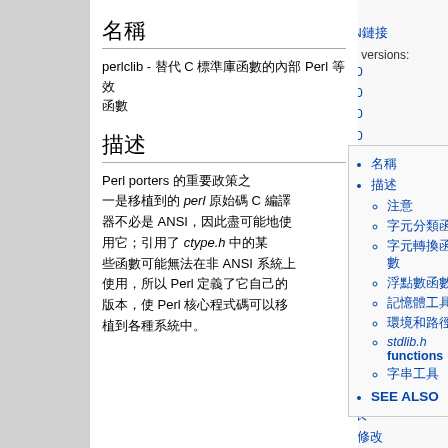CPAN鏈接 Other versions: 5.36.0 5.34.0 5.32.0 5.30.0 5.28.0 5.26.1 5.24.1 5.22.1 5.20.1 5.18.1 5.14.1 5.12.1 5.10.1
名稱
perlclib - 替代 C 標準庫函數的內部 Perl 等效函數
描述
Perl porters 的重要政策之一是移植到的 perl 原始碼 C 編譯器 不必是 ANSI，因此盡可能地使用它；引用了 ctype.h 中的某些函數 可能無法在非 ANSI 系統上使用，所以 Perl 定義了它自己的版本，使 Perl 核心程式碼可以移植到各種系統中。
名稱
描述
注意
字元分類函數
字元轉換函數
浮點數函數
記憶體工具
環境和路徑
stdlib.h functions
字串工具
SEE ALSO